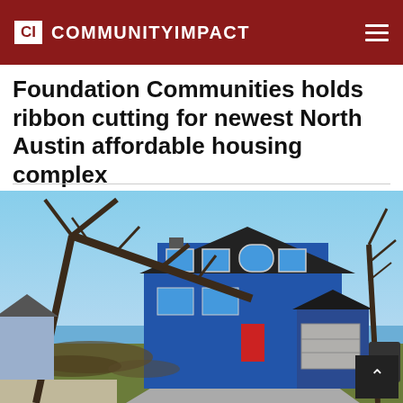CI COMMUNITY IMPACT
Foundation Communities holds ribbon cutting for newest North Austin affordable housing complex
[Figure (photo): A blue two-story house with storm damage — large trees have fallen onto the roof and front yard. A red front door is visible. The sky is clear blue. Debris and fallen branches cover the yard and driveway.]